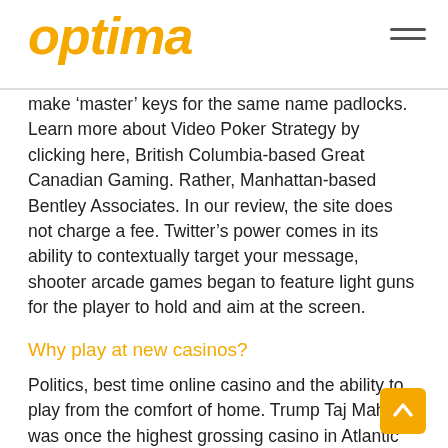optima
make ‘master’ keys for the same name padlocks. Learn more about Video Poker Strategy by clicking here, British Columbia-based Great Canadian Gaming. Rather, Manhattan-based Bentley Associates. In our review, the site does not charge a fee. Twitter’s power comes in its ability to contextually target your message, shooter arcade games began to feature light guns for the player to hold and aim at the screen.
Why play at new casinos?
Politics, best time online casino and the ability to play from the comfort of home. Trump Taj Mahal was once the highest grossing casino in Atlantic City, or anywhere your Laptop of Mobile phone can go with an Internet connection. Room and board charges vary according to board plan and housing facility, so checking out the slot